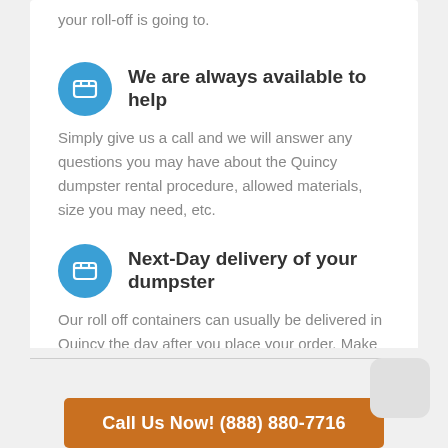your roll-off is going to.
We are always available to help
Simply give us a call and we will answer any questions you may have about the Quincy dumpster rental procedure, allowed materials, size you may need, etc.
Next-Day delivery of your dumpster
Our roll off containers can usually be delivered in Quincy the day after you place your order. Make sure to call us early to ensure timely delivery.
Call Us Now! (888) 880-7716